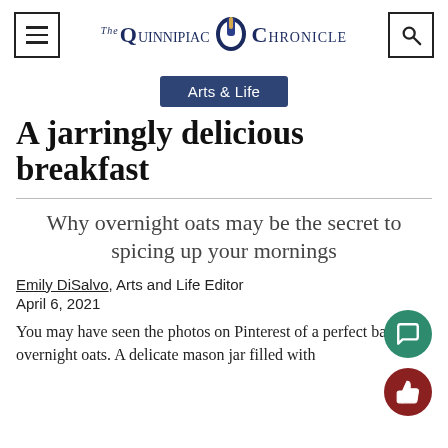The Quinnipiac Chronicle
Arts & Life
A jarringly delicious breakfast
Why overnight oats may be the secret to spicing up your mornings
Emily DiSalvo, Arts and Life Editor
April 6, 2021
You may have seen the photos on Pinterest of a perfect batch of overnight oats. A delicate mason jar filled with